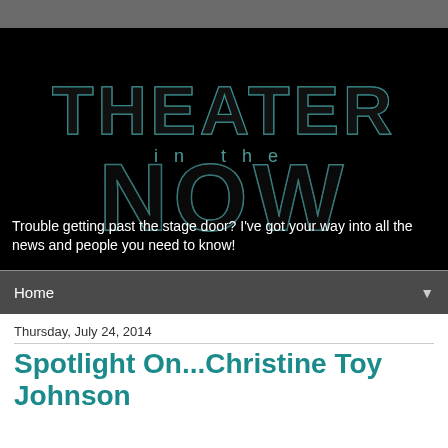[Figure (logo): Theater in the NOW logo — dark background with dotted/outlined large letters THEATER on top, 'in the' in smaller text below, and NOW in large outlined letters at the bottom. Teal/cyan outlined font on black background.]
Trouble getting past the stage door? I've got your way into all the news and people you need to know!
Home
Thursday, July 24, 2014
Spotlight On...Christine Toy Johnson